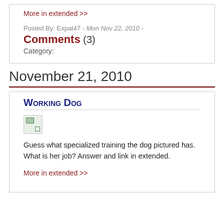More in extended >>
Posted By: Expat47 - Mon Nov 22, 2010 -
Comments (3)
Category:
November 21, 2010
Working Dog
[Figure (photo): Broken/missing image placeholder for working dog photo]
Guess what specialized training the dog pictured has. What is her job? Answer and link in extended.
More in extended >>